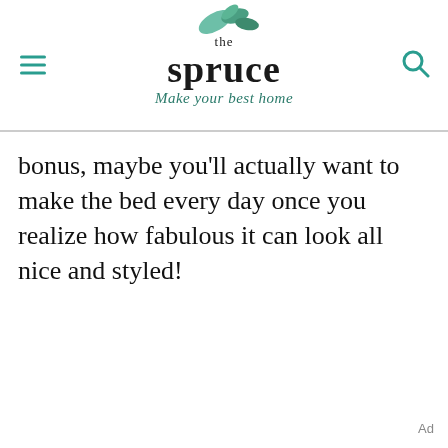the spruce — Make your best home
bonus, maybe you'll actually want to make the bed every day once you realize how fabulous it can look all nice and styled!
Ad